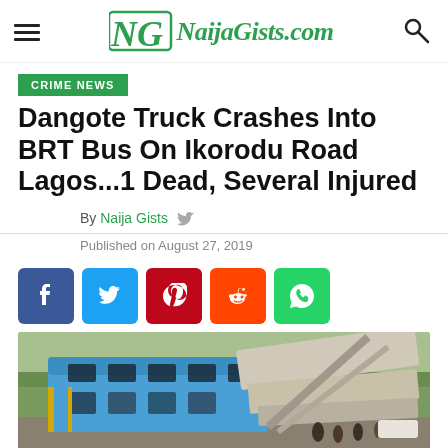NaijaGists.com
CRIME NEWS
Dangote Truck Crashes Into BRT Bus On Ikorodu Road Lagos...1 Dead, Several Injured
By Naija Gists
Published on August 27, 2019
[Figure (infographic): Social share buttons: Facebook, Twitter, Pinterest, Reddit, WhatsApp]
[Figure (photo): Photo of crashed BRT bus with a truck on top of it, people standing around the wreckage on Ikorodu Road Lagos]